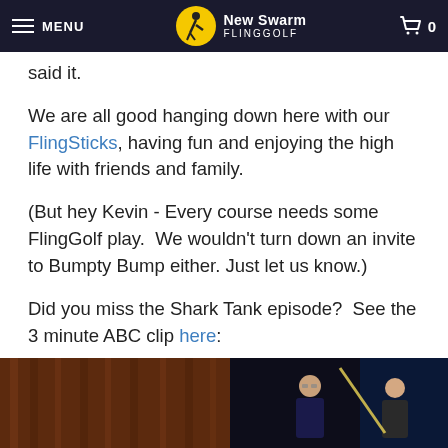MENU | New Swarm FlingGolf | 0
said it.
We are all good hanging down here with our FlingSticks, having fun and enjoying the high life with friends and family.
(But hey Kevin - Every course needs some FlingGolf play.  We wouldn't turn down an invite to Bumpty Bump either. Just let us know.)
Did you miss the Shark Tank episode?  See the 3 minute ABC clip here:
[Figure (photo): A scene from the Shark Tank ABC episode showing two people in a dark studio, one holding what appears to be a FlingGolf stick.]